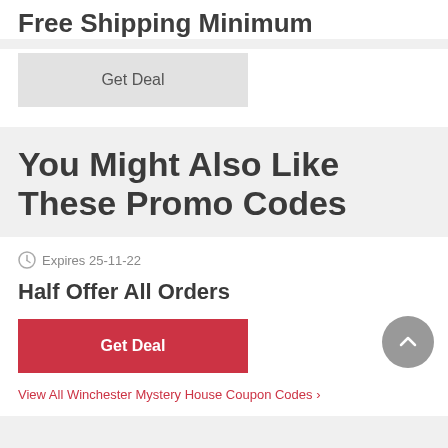Free Shipping Minimum
Get Deal
You Might Also Like These Promo Codes
Expires 25-11-22
Half Offer All Orders
Get Deal
View All Winchester Mystery House Coupon Codes